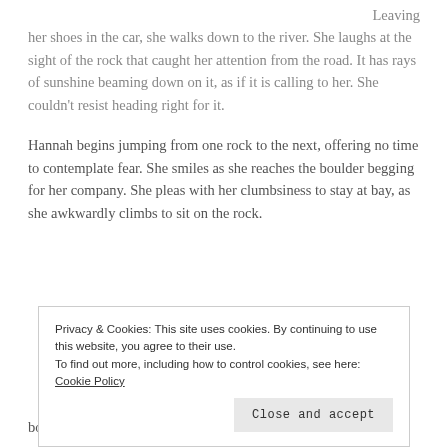Leaving her shoes in the car, she walks down to the river. She laughs at the sight of the rock that caught her attention from the road. It has rays of sunshine beaming down on it, as if it is calling to her. She couldn’t resist heading right for it.
Hannah begins jumping from one rock to the next, offering no time to contemplate fear. She smiles as she reaches the boulder begging for her company. She pleas with her clumbsiness to stay at bay, as she awkwardly climbs to sit on the rock.
Privacy & Cookies: This site uses cookies. By continuing to use this website, you agree to their use.
To find out more, including how to control cookies, see here: Cookie Policy
body being pulled in a thousand directions, always dictated